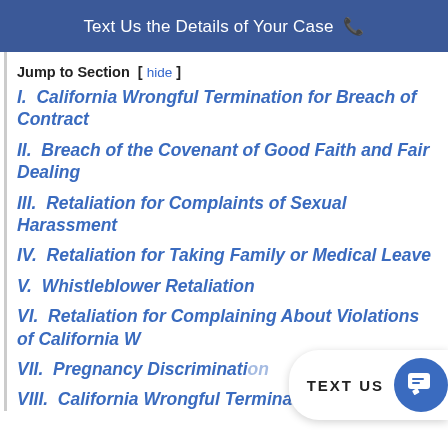Text Us the Details of Your Case 📞
Jump to Section [ hide ]
I.  California Wrongful Termination for Breach of Contract
II.  Breach of the Covenant of Good Faith and Fair Dealing
III.  Retaliation for Complaints of Sexual Harassment
IV.  Retaliation for Taking Family or Medical Leave
V.  Whistleblower Retaliation
VI.  Retaliation for Complaining About Violations of California W…
VII.  Pregnancy Discrimination…
VIII.  California Wrongful Termination Based on…